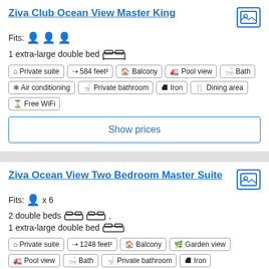Ziva Club Ocean View Master King
Fits: 3 people
1 extra-large double bed
Private suite | 584 feet² | Balcony | Pool view | Bath | Air conditioning | Private bathroom | Iron | Dining area | Free WiFi
Show prices
Ziva Ocean View Two Bedroom Master Suite
Fits: 1 person x 6
2 double beds , 1 extra-large double bed
Private suite | 1248 feet² | Balcony | Garden view | Pool view | Bath | Private bathroom | Iron | Dining area | Free WiFi